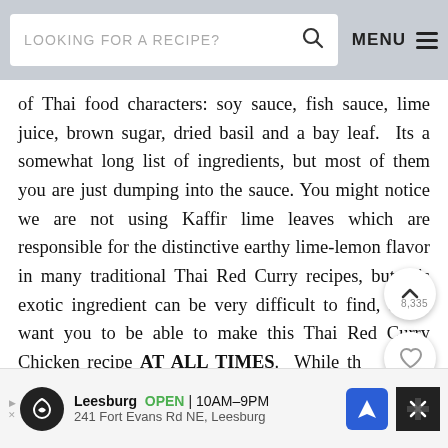LOOKING FOR A RECIPE? MENU
of Thai food characters: soy sauce, fish sauce, lime juice, brown sugar, dried basil and a bay leaf.  Its a somewhat long list of ingredients, but most of them you are just dumping into the sauce. You might notice we are not using Kaffir lime leaves which are responsible for the distinctive earthy lime-lemon flavor in many traditional Thai Red Curry recipes, but this exotic ingredient can be very difficult to find, and I want you to be able to make this Thai Red Curry Chicken recipe AT ALL TIMES.  While there is no direct substitute for Kaffir lime leaves, it doesn't mean other ingredients can't be used to produce otherworldly flavors.  This Thai Red Curry Chicken achieves a wonderfully fresh
Leesburg OPEN 10AM–9PM 241 Fort Evans Rd NE, Leesburg